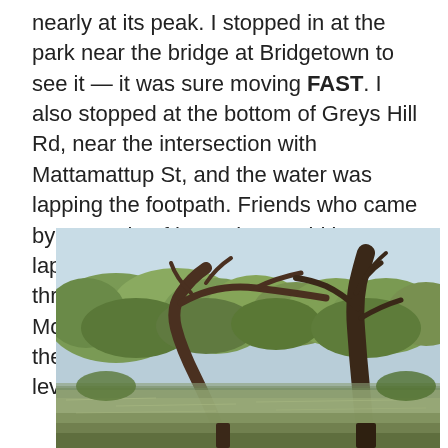nearly at its peak. I stopped in at the park near the bridge at Bridgetown to see it — it was sure moving FAST. I also stopped at the bottom of Greys Hill Rd, near the intersection with Mattamattup St, and the water was lapping the footpath. Friends who came by a couple of hours later said it was lapping at the road when they came through. This was Thursday 19 Feb. By Monday 21 Feb when I headed home, the river was back to almost normal levels.
[Figure (photo): A flooded river scene with two large gum trees standing in floodwater. The trees have arching and upright trunks with bare branches. Green leafy trees fill the background under a light sky. The calm brown floodwater reflects the trees and surroundings.]